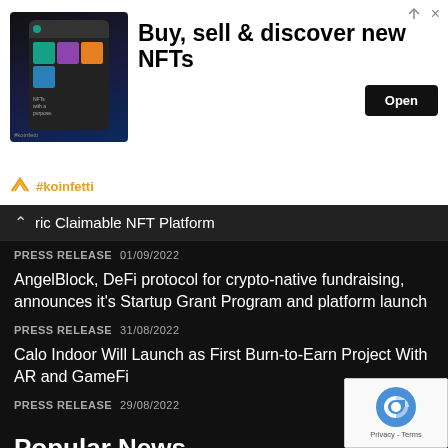[Figure (screenshot): Advertisement banner with dark NFT app imagery on left, text 'Buy, sell & discover new NFTs' and Open button on right]
#koinfetti
ric Claimable NFT Platform
PRESS RELEASE  01/09/2022
AngelBlock, DeFi protocol for crypto-native fundraising, announces it's Startup Grant Program and platform launch
PRESS RELEASE  31/08/2022
Calo Indoor Will Launch as First Burn-to-Earn Project With AR and GameFi
PRESS RELEASE  29/08/2022
Popular News
Binance is a Chinese company? Is Chen Guangying the man in power behind the scenes? Changpeng Zhao refutes rumors and tells the truth